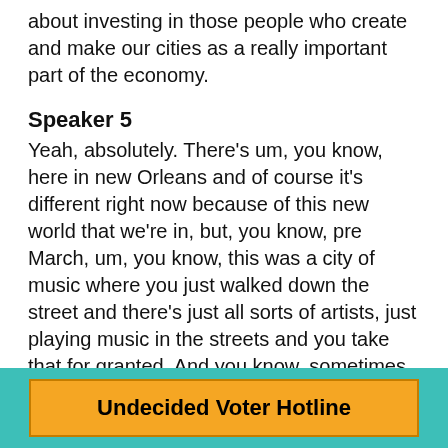about investing in those people who create and make our cities as a really important part of the economy.
Speaker 5
Yeah, absolutely. There's um, you know, here in new Orleans and of course it's different right now because of this new world that we're in, but, you know, pre March, um, you know, this was a city of music where you just walked down the street and there's just all sorts of artists, just playing music in the streets and you take that for granted. And you know, sometimes some people would, you know, throw some dollars in the hat or something. Uh, but for the most part, you're just walking around the French quarter, you're hearing music and you're just thinking, this is amazing. I love this city. I want to
Undecided Voter Hotline